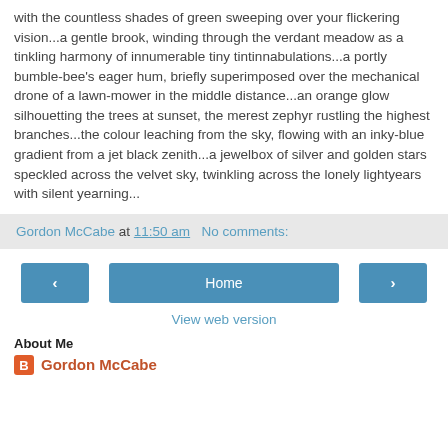with the countless shades of green sweeping over your flickering vision...a gentle brook, winding through the verdant meadow as a tinkling harmony of innumerable tiny tintinnabulations...a portly bumble-bee's eager hum, briefly superimposed over the mechanical drone of a lawn-mower in the middle distance...an orange glow silhouetting the trees at sunset, the merest zephyr rustling the highest branches...the colour leaching from the sky, flowing with an inky-blue gradient from a jet black zenith...a jewelbox of silver and golden stars speckled across the velvet sky, twinkling across the lonely lightyears with silent yearning...
Gordon McCabe at 11:50 am   No comments:
< Home > View web version
About Me
Gordon McCabe